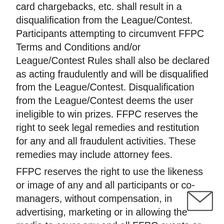card chargebacks, etc. shall result in a disqualification from the League/Contest. Participants attempting to circumvent FFPC Terms and Conditions and/or League/Contest Rules shall also be declared as acting fraudulently and will be disqualified from the League/Contest. Disqualification from the League/Contest deems the user ineligible to win prizes. FFPC reserves the right to seek legal remedies and restitution for any and all fraudulent activities. These remedies may include attorney fees.
FFPC reserves the right to use the likeness or image of any and all participants or co-managers, without compensation, in advertising, marketing or in allowing the media to cover any and all FFPC events or activities including the draft and all related activities. FFPC is solely responsible for enacting, administering, enforcing the rules, and maintaining the integrity of the FFPC. The